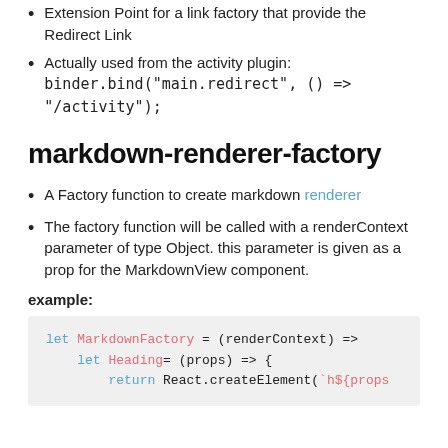Extension Point for a link factory that provide the Redirect Link
Actually used from the activity plugin: binder.bind("main.redirect", () => "/activity");
markdown-renderer-factory
A Factory function to create markdown renderer
The factory function will be called with a renderContext parameter of type Object. this parameter is given as a prop for the MarkdownView component.
example:
let MarkdownFactory = (renderContext) =>

    let Heading= (props) => {
        return React.createElement(`h${props